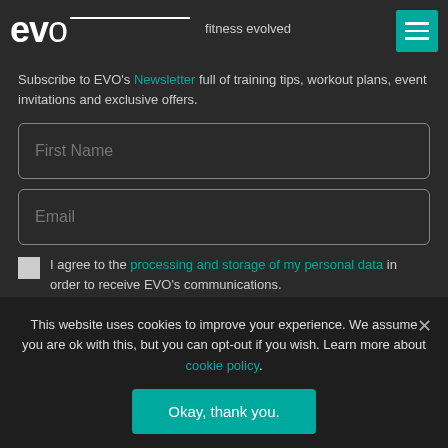evo fitness evolved
Subscribe to EVO's Newsletter full of training tips, workout plans, event invitations and exclusive offers.
First Name (input field)
Email (input field)
I agree to the processing and storage of my personal data in order to receive EVO's communications.
SUBSCRIBE
This website uses cookies to improve your experience. We assume you are ok with this, but you can opt-out if you wish. Learn more about cookie policy.
Okay, thank you.